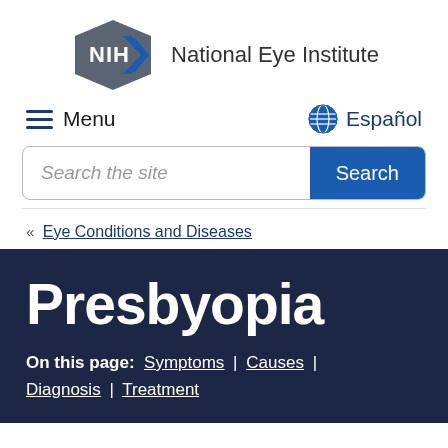[Figure (logo): NIH National Eye Institute logo: dark gray hexagonal badge with 'NIH' and blue arrow chevron, followed by text 'National Eye Institute']
Menu | Español
Search the site
Eye Conditions and Diseases
Presbyopia
On this page:  Symptoms | Causes | Diagnosis | Treatment